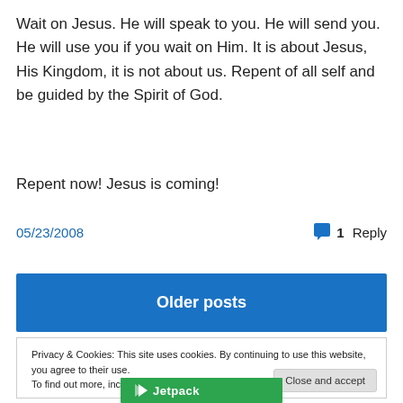Wait on Jesus. He will speak to you. He will send you. He will use you if you wait on Him. It is about Jesus, His Kingdom, it is not about us. Repent of all self and be guided by the Spirit of God.
Repent now! Jesus is coming!
05/23/2008    1 Reply
Older posts
Privacy & Cookies: This site uses cookies. By continuing to use this website, you agree to their use. To find out more, including how to control cookies, see here: Cookie Policy
Close and accept